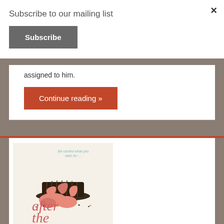Subscribe to our mailing list
Subscribe
×
assigned to him.
Continue reading »
[Figure (illustration): Book cover for 'after the' showing an upside-down chocolate cupcake with pink frosting spilled on a white/cream background. Tagline reads 'Be careful what you wish for...' in teal text at top right.]
after the